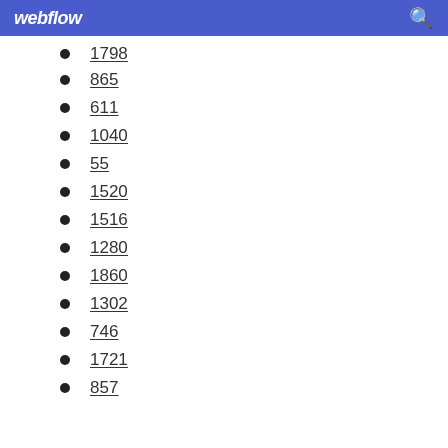webflow
1798
865
611
1040
55
1520
1516
1280
1860
1302
746
1721
857